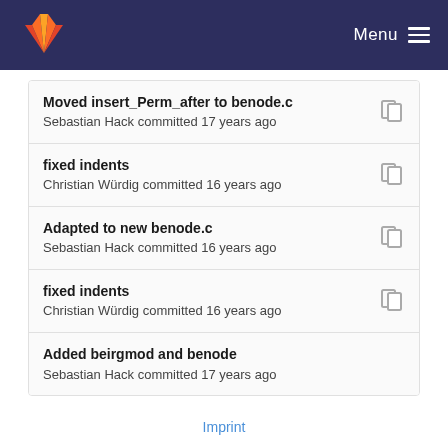GitLab — Menu
Moved insert_Perm_after to benode.c
Sebastian Hack committed 17 years ago
fixed indents
Christian Würdig committed 16 years ago
Adapted to new benode.c
Sebastian Hack committed 16 years ago
fixed indents
Christian Würdig committed 16 years ago
Added beirgmod and benode
Sebastian Hack committed 17 years ago
Imprint